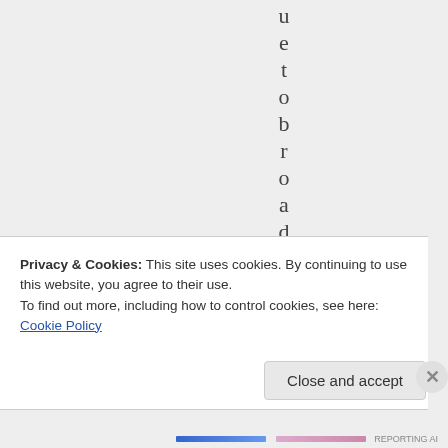u e t o b r o a d e n
Privacy & Cookies: This site uses cookies. By continuing to use this website, you agree to their use. To find out more, including how to control cookies, see here: Cookie Policy
Close and accept